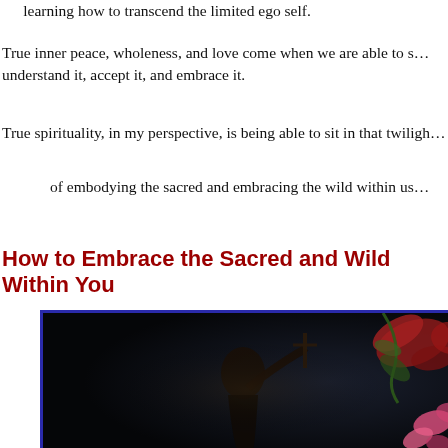learning how to transcend the limited ego self.
True inner peace, wholeness, and love come when we are able to s... understand it, accept it, and embrace it.
True spirituality, in my perspective, is being able to sit in that twiligh...
of embodying the sacred and embracing the wild within us...
How to Embrace the Sacred and Wild Within You
[Figure (photo): Dark atmospheric photo of a person with flowers/foliage, dark background with red and pink flowers visible, hand raised holding what appears to be a cross or flower stem]